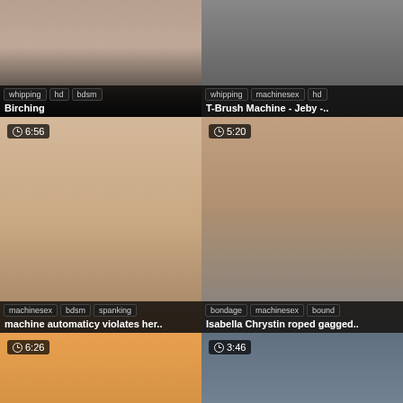[Figure (screenshot): Video thumbnail grid - top left: Birching video, tags: whipping, hd, bdsm]
whipping  hd  bdsm
Birching
[Figure (screenshot): Video thumbnail grid - top right: T-Brush Machine video, tags: whipping, machinesex, hd]
whipping  machinesex  hd
T-Brush Machine - Jeby -..
[Figure (screenshot): Video thumbnail - mid left: machine automaticy violates her, duration 6:56, tags: machinesex, bdsm, spanking]
machinesex  bdsm  spanking
machine automaticy violates her..
[Figure (screenshot): Video thumbnail - mid right: Isabella Chrystin roped gagged, duration 5:20, tags: bondage, machinesex, bound]
bondage  machinesex  bound
Isabella Chrystin roped gagged..
[Figure (screenshot): Video thumbnail - bottom left: caning video, duration 6:26, tags: caning, slave, amateur]
caning  slave  amateur
[Figure (screenshot): Video thumbnail - bottom right: bondage milf japanese video, duration 3:46, tags: bondage, milf, japanese]
bondage  milf  japanese